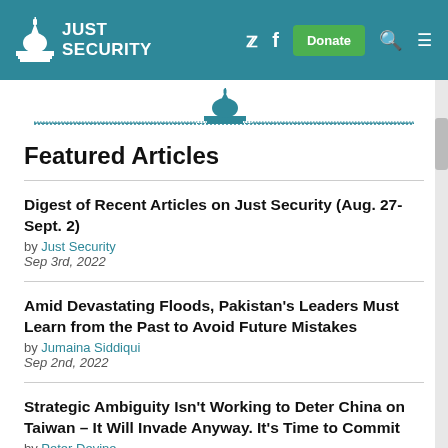Just Security
Featured Articles
Digest of Recent Articles on Just Security (Aug. 27-Sept. 2)
by Just Security
Sep 3rd, 2022
Amid Devastating Floods, Pakistan's Leaders Must Learn from the Past to Avoid Future Mistakes
by Jumaina Siddiqui
Sep 2nd, 2022
Strategic Ambiguity Isn't Working to Deter China on Taiwan – It Will Invade Anyway. It's Time to Commit
by Peter Devine